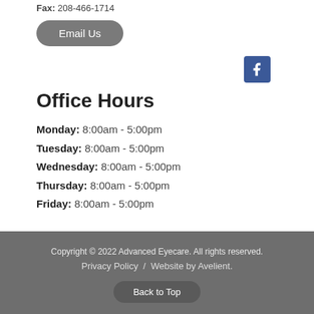Fax: 208-466-1714
Email Us
[Figure (logo): Facebook icon button, blue square with white 'f' logo]
Office Hours
Monday: 8:00am - 5:00pm
Tuesday: 8:00am - 5:00pm
Wednesday: 8:00am - 5:00pm
Thursday: 8:00am - 5:00pm
Friday: 8:00am - 5:00pm
Copyright © 2022 Advanced Eyecare. All rights reserved. Privacy Policy / Website by Avelient.